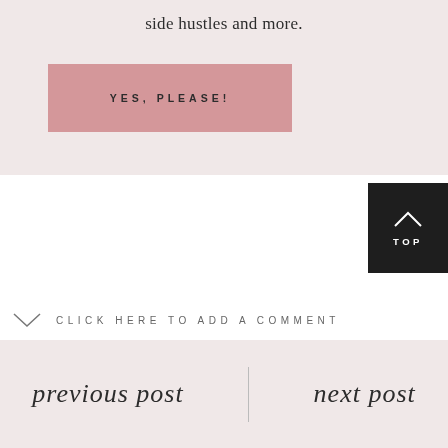side hustles and more.
YES, PLEASE!
TOP
CLICK HERE TO ADD A COMMENT
previous post
next post